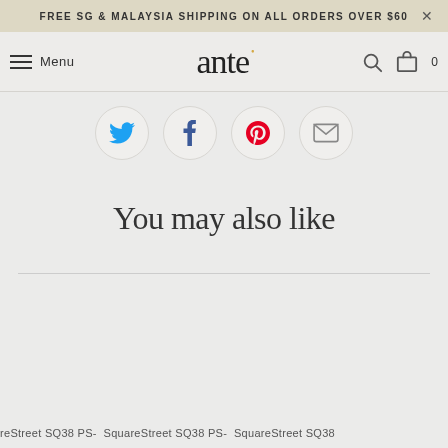FREE SG & MALAYSIA SHIPPING ON ALL ORDERS OVER $60
[Figure (screenshot): Ante store navigation bar with hamburger menu, 'ante' logo with orange dot accent, search icon, and cart icon showing 0 items]
[Figure (infographic): Social sharing icons in circles: Twitter (blue bird), Facebook (blue f), Pinterest (red p), Email (envelope)]
You may also like
reStreet SQ38 PS-  SquareStreet SQ38 PS-  SquareStreet SQ38